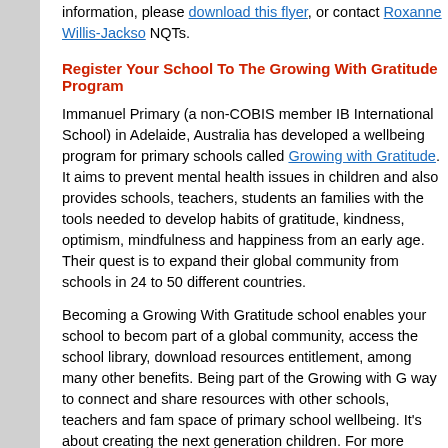information, please download this flyer, or contact Roxanne Willis-Jackson NQTs.
Register Your School To The Growing With Gratitude Program
Immanuel Primary (a non-COBIS member IB International School) in Adelaide, Australia has developed a wellbeing program for primary schools called Growing with Gratitude. It aims to prevent mental health issues in children and also provides schools, teachers, students and families with the tools needed to develop habits of gratitude, kindness, optimism, mindfulness and happiness from an early age. Their quest is to expand their global community from schools in 24 to 50 different countries.
Becoming a Growing With Gratitude school enables your school to become part of a global community, access the school library, download resources entitlement, among many other benefits. Being part of the Growing with G way to connect and share resources with other schools, teachers and families space of primary school wellbeing. It's about creating the next generation children. For more information, please click here and to register your school.
Professional Development
2015/16 COBIS CPD Calendar
The 2015/16 COBIS CPD Calendar includes a range of courses and conferences.
Teachers